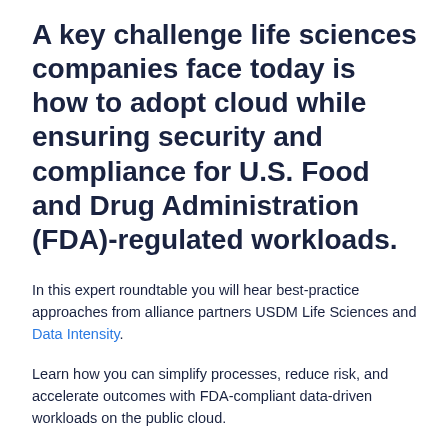A key challenge life sciences companies face today is how to adopt cloud while ensuring security and compliance for U.S. Food and Drug Administration (FDA)-regulated workloads.
In this expert roundtable you will hear best-practice approaches from alliance partners USDM Life Sciences and Data Intensity.
Learn how you can simplify processes, reduce risk, and accelerate outcomes with FDA-compliant data-driven workloads on the public cloud.
This discussion included: